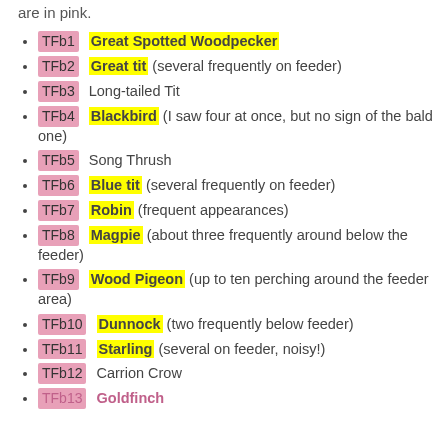are in pink.
TFb1 Great Spotted Woodpecker
TFb2 Great tit (several frequently on feeder)
TFb3 Long-tailed Tit
TFb4 Blackbird (I saw four at once, but no sign of the bald one)
TFb5 Song Thrush
TFb6 Blue tit (several frequently on feeder)
TFb7 Robin (frequent appearances)
TFb8 Magpie (about three frequently around below the feeder)
TFb9 Wood Pigeon (up to ten perching around the feeder area)
TFb10 Dunnock (two frequently below feeder)
TFb11 Starling (several on feeder, noisy!)
TFb12 Carrion Crow
TFb13 Goldfinch